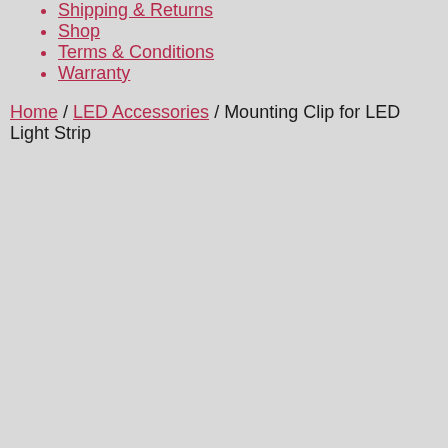Shipping & Returns
Shop
Terms & Conditions
Warranty
Home / LED Accessories / Mounting Clip for LED Light Strip